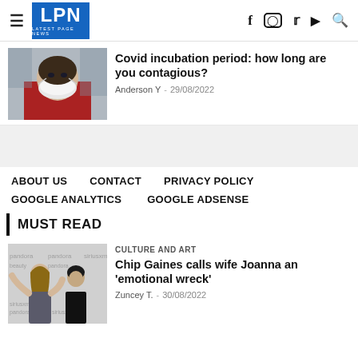LPN LATEST PAGE NEWS — social icons: f, instagram, twitter, youtube, search
[Figure (photo): Person wearing a white respirator face mask, red jacket, outdoors]
Covid incubation period: how long are you contagious?
Anderson Y  -  29/08/2022
ABOUT US   CONTACT   PRIVACY POLICY
GOOGLE ANALYTICS   GOOGLE ADSENSE
MUST READ
[Figure (photo): Couple at a media event with Pandora logos in background, man with long hair, woman in black outfit]
CULTURE AND ART
Chip Gaines calls wife Joanna an 'emotional wreck'
Zuncey T.  -  30/08/2022